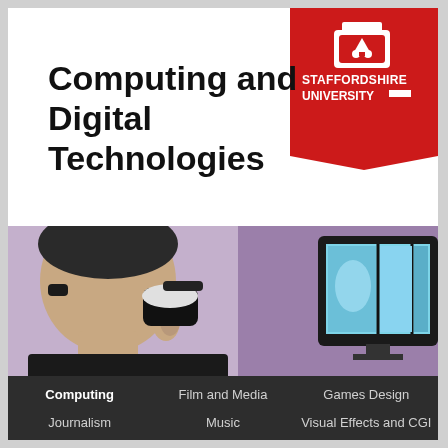[Figure (logo): Staffordshire University red logo with shield icon and university name]
Computing and Digital Technologies
[Figure (photo): Person wearing a VR headset viewed from behind, with monitors displaying content in the background]
Computing
Film and Media
Games Design
Journalism
Music
Visual Effects and CGI